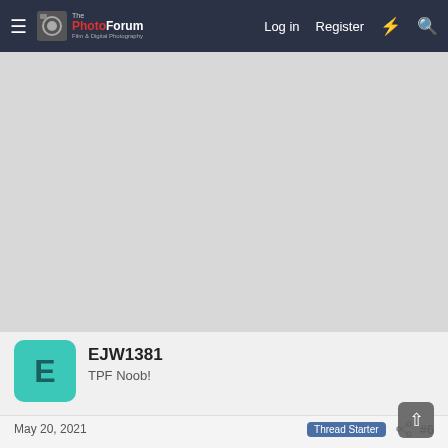The PhotoForum — Log in  Register
[Figure (other): Advertisement banner area — gray rectangle placeholder]
[Figure (other): User avatar: teal/green rounded square with letter E]
EJW1381
TPF Noob!
May 20, 2021
Thread Starter
#6
I was told never to use compressed air! But to use air blower, maybe give that a shot but I am thinking
Original katomi said: